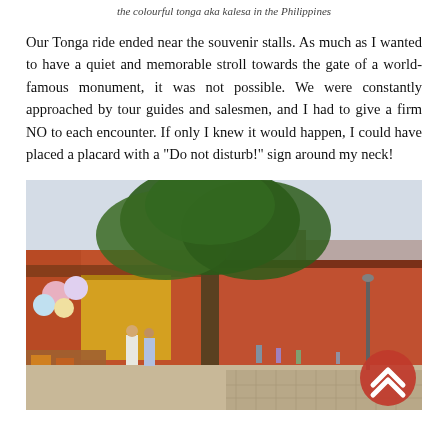the colourful tonga aka kalesa in the Philippines
Our Tonga ride ended near the souvenir stalls. As much as I wanted to have a quiet and memorable stroll towards the gate of a world-famous monument, it was not possible. We were constantly approached by tour guides and salesmen, and I had to give a firm NO to each encounter. If only I knew it would happen, I could have placed a placard with a "Do not disturb!" sign around my neck!
[Figure (photo): Street-level photo of souvenir market stalls along a pathway lined with red/orange buildings. A large tree dominates the center. Vendors and shoppers visible. Red circular scroll-to-top button in bottom-right corner.]